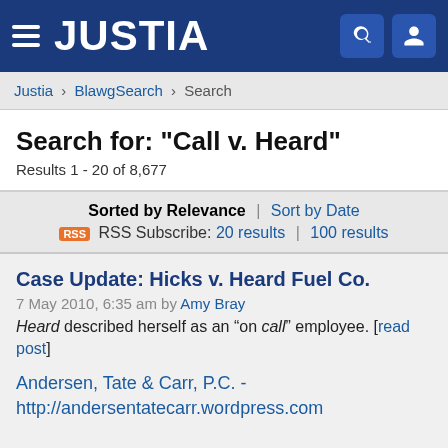JUSTIA
Justia › BlawgSearch › Search
Search for: "Call v. Heard"
Results 1 - 20 of 8,677
Sorted by Relevance | Sort by Date
RSS Subscribe: 20 results | 100 results
Case Update: Hicks v. Heard Fuel Co.
7 May 2010, 6:35 am by Amy Bray
Heard described herself as an “on call” employee. [read post]
Andersen, Tate & Carr, P.C. - http://andersentatecarr.wordpress.com